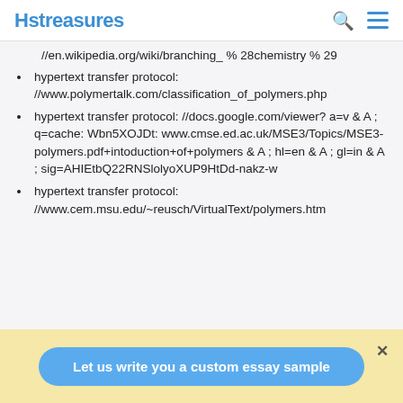Hstreasures
//en.wikipedia.org/wiki/branching_ % 28chemistry % 29
hypertext transfer protocol: //www.polymertalk.com/classification_of_polymers.php
hypertext transfer protocol: //docs.google.com/viewer? a=v & A ; q=cache: Wbn5XOJDt: www.cmse.ed.ac.uk/MSE3/Topics/MSE3-polymers.pdf+intoduction+of+polymers & A ; hl=en & A ; gl=in & A ; sig=AHIEtbQ22RNSlolyoXUP9HtDd-nakz-w
hypertext transfer protocol: //www.cem.msu.edu/~reusch/VirtualText/polymers.htm
Let us write you a custom essay sample